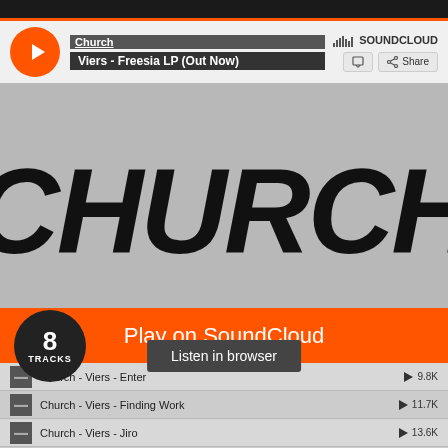[Figure (screenshot): SoundCloud embedded player for 'Church - Viers - Freesia LP (Out Now)' playlist. Shows the word CHURCH in large bold italic text on a grey background, an orange 'Play on SoundCloud' button, a 'Listen in browser' button, an 8 TRACKS badge, and a tracklist with Church - Viers - Enter (9.8K plays), Church - Viers - Finding Work (11.7K plays), Church - Viers - Jiro (13.6K plays), Church - Viers - Yamada (partially visible).]